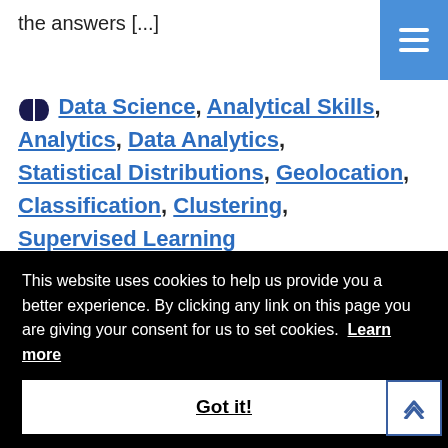the answers [...]
Data Science, Analytical Skills, Analytics, Data Analytics, Statistical Distributions, Geolocation, Classification, Clustering, Supervised Learning
This website uses cookies to help us provide you a better experience. By clicking any link on this page you are giving your consent for us to set cookies. Learn more
Got it!